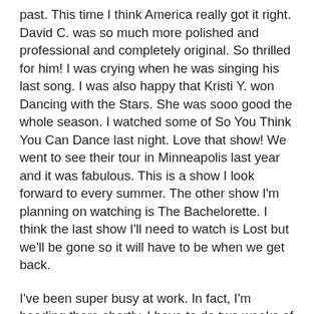past. This time I think America really got it right. David C. was so much more polished and professional and completely original. So thrilled for him! I was crying when he was singing his last song. I was also happy that Kristi Y. won Dancing with the Stars. She was sooo good the whole season. I watched some of So You Think You Can Dance last night. Love that show! We went to see their tour in Minneapolis last year and it was fabulous. This is a show I look forward to every summer. The other show I'm planning on watching is The Bachelorette. I think the last show I'll need to watch is Lost but we'll be gone so it will have to be when we get back.
I've been super busy at work. In fact, I'm heading there shortly. I have to do two weeks of radio programs for when we're in Florida (which is why I'm working extra). Isn't it crazy how hard we work to go on vacation? And I'm not just talking about work, but at home too. I always like to have the laundry done up and the entire house clean so I can come home to a clean house.
This weekend will be very crazy for us as well. Tonight I'm going to crop til I drop by myself and hopefully be very